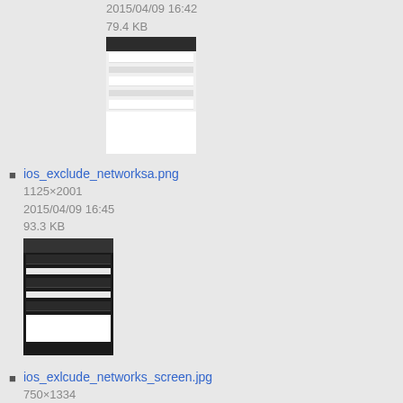2015/04/09 16:42
79.4 KB
[Figure (screenshot): Thumbnail of a light-themed iOS network settings screen]
ios_exclude_networksa.png
1125×2001
2015/04/09 16:45
93.3 KB
[Figure (screenshot): Thumbnail of a dark-themed iOS network settings screen]
ios_exlcude_networks_screen.jpg
750×1334
2015/04/07 22:42
67.3 KB
[Figure (screenshot): Thumbnail of a dark iOS screen with icon grid]